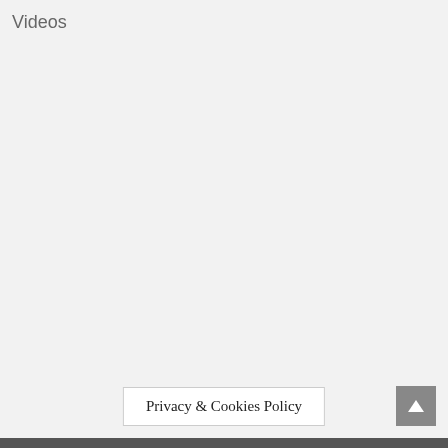Videos
Privacy & Cookies Policy